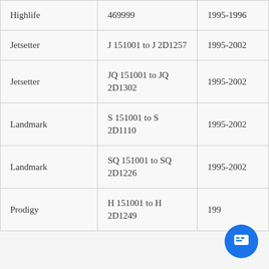| Model | Serial Range | Years |
| --- | --- | --- |
| Highlife | 469999 | 1995-1996 |
| Jetsetter | J 151001 to J 2D1257 | 1995-2002 |
| Jetsetter | JQ 151001 to JQ 2D1302 | 1995-2002 |
| Landmark | S 151001 to S 2D1110 | 1995-2002 |
| Landmark | SQ 151001 to SQ 2D1226 | 1995-2002 |
| Prodigy | H 151001 to H 2D1249 | 199... |